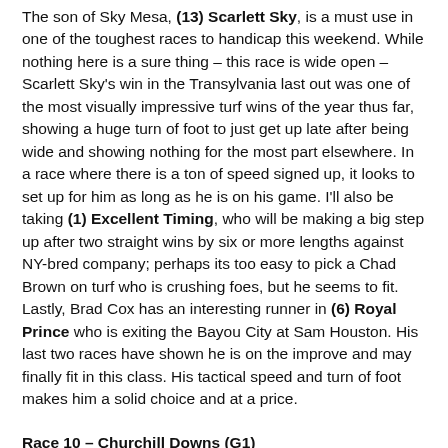The son of Sky Mesa, (13) Scarlett Sky, is a must use in one of the toughest races to handicap this weekend. While nothing here is a sure thing – this race is wide open – Scarlett Sky's win in the Transylvania last out was one of the most visually impressive turf wins of the year thus far, showing a huge turn of foot to just get up late after being wide and showing nothing for the most part elsewhere. In a race where there is a ton of speed signed up, it looks to set up for him as long as he is on his game. I'll also be taking (1) Excellent Timing, who will be making a big step up after two straight wins by six or more lengths against NY-bred company; perhaps its too easy to pick a Chad Brown on turf who is crushing foes, but he seems to fit. Lastly, Brad Cox has an interesting runner in (6) Royal Prince who is exiting the Bayou City at Sam Houston. His last two races have shown he is on the improve and may finally fit in this class. His tactical speed and turn of foot makes him a solid choice and at a price.
Race 10 – Churchill Downs (G1)
4:31pm ET | $500,000 | 4YO and Up | 7 Furlongs Dirt
Some very familiar foes line up in the Churchill Downs Stakes, being held for only the second time as a G1 as it was skipped during 2020.